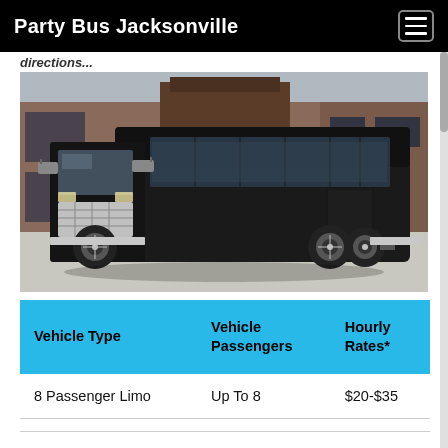Party Bus Jacksonville
directions
[Figure (photo): A large black party bus / coach vehicle parked in front of a brick commercial building. The vehicle is a black International-style bus with chrome grille and large front windows.]
| Vehicle Type | Vehicle Passengers | Hourly Rates* |
| --- | --- | --- |
| 8 Passenger Limo | Up To 8 | $20-$35 |